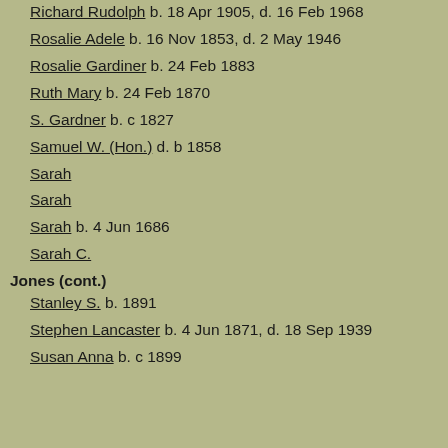Richard Rudolph  b. 18 Apr 1905, d. 16 Feb 1968
Rosalie Adele  b. 16 Nov 1853, d. 2 May 1946
Rosalie Gardiner  b. 24 Feb 1883
Ruth Mary  b. 24 Feb 1870
S. Gardner  b. c 1827
Samuel W. (Hon.)  d. b 1858
Sarah
Sarah
Sarah  b. 4 Jun 1686
Sarah C.
Jones (cont.)
Stanley S.  b. 1891
Stephen Lancaster  b. 4 Jun 1871, d. 18 Sep 1939
Susan Anna  b. c 1899